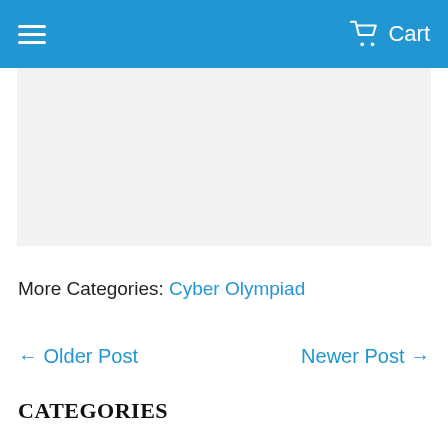≡  Cart
[Figure (other): Gray placeholder image block]
More Categories: Cyber Olympiad
← Older Post    Newer Post →
CATEGORIES
Animals